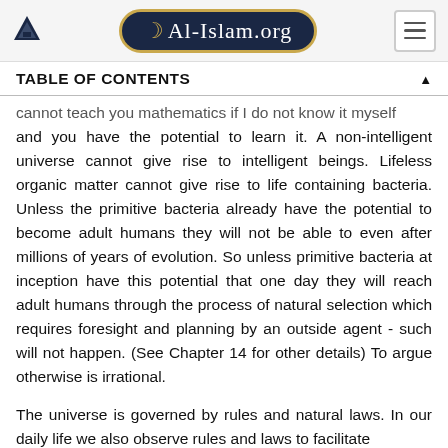Al-Islam.org
TABLE OF CONTENTS
cannot teach you mathematics if I do not know it myself and you have the potential to learn it. A non-intelligent universe cannot give rise to intelligent beings. Lifeless organic matter cannot give rise to life containing bacteria. Unless the primitive bacteria already have the potential to become adult humans they will not be able to even after millions of years of evolution. So unless primitive bacteria at inception have this potential that one day they will reach adult humans through the process of natural selection which requires foresight and planning by an outside agent - such will not happen. (See Chapter 14 for other details) To argue otherwise is irrational.
The universe is governed by rules and natural laws. In our daily life we also observe rules and laws to facilitate